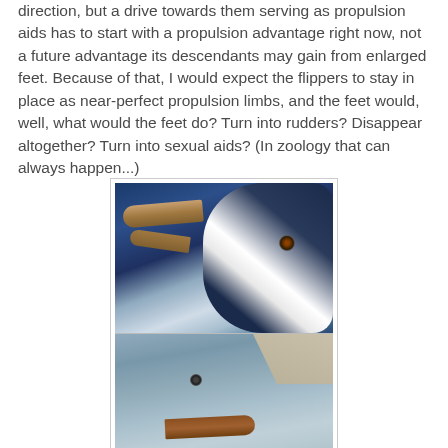direction, but a drive towards them serving as propulsion aids has to start with a propulsion advantage right now, not a future advantage its descendants may gain from enlarged feet. Because of that, I would expect the flippers to stay in place as near-perfect propulsion limbs, and the feet would, well, what would the feet do? Turn into rudders? Disappear altogether? Turn into sexual aids? (In zoology that can always happen...)
[Figure (photo): Two photographs of prehistoric marine animal head reconstructions. Top photo shows a dark-colored creature (resembling a penguin or marine bird) with a long beak, white facial markings, and a visible eye. Bottom photo shows a grey-colored marine creature with a broad flat snout/beak and small eye, possibly a reconstruction of an early whale or aquatic mammal.]